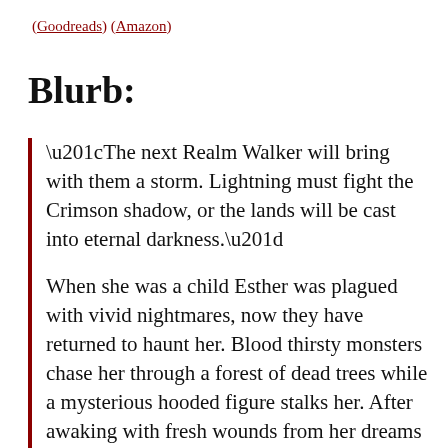(Goodreads) (Amazon)
Blurb:
“The next Realm Walker will bring with them a storm. Lightning must fight the Crimson shadow, or the lands will be cast into eternal darkness.”

When she was a child Esther was plagued with vivid nightmares, now they have returned to haunt her. Blood thirsty monsters chase her through a forest of dead trees while a mysterious hooded figure stalks her. After awaking with fresh wounds from her dreams Esther